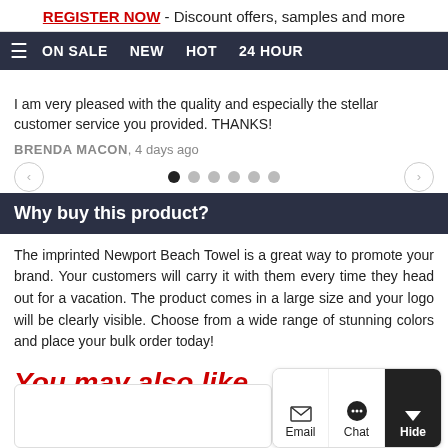REGISTER NOW - Discount offers, samples and more
≡  ON SALE  NEW  HOT  24 HOUR
I am very pleased with the quality and especially the stellar customer service you provided. THANKS!
BRENDA MACON, 4 days ago
Why buy this product?
The imprinted Newport Beach Towel is a great way to promote your brand. Your customers will carry it with them every time they head out for a vacation. The product comes in a large size and your logo will be clearly visible. Choose from a wide range of stunning colors and place your bulk order today!
You may also like